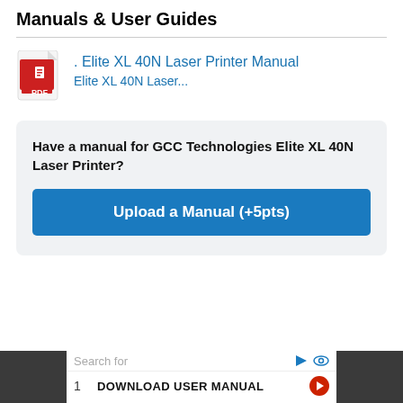Manuals & User Guides
[Figure (illustration): PDF file icon with red Adobe-style logo and 'PDF' text]
. Elite XL 40N Laser Printer Manual
Elite XL 40N Laser...
Have a manual for GCC Technologies Elite XL 40N Laser Printer?
Upload a Manual (+5pts)
Search for
1    DOWNLOAD USER MANUAL